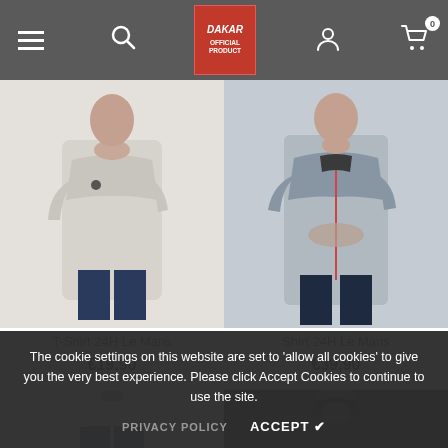[Figure (screenshot): Navigation bar with hamburger menu, search icon, Dakar Official Product logo, user icon, and cart with 0 items]
[Figure (photo): Man wearing light gray T-Shirt 24H Le Mans product photo]
[Figure (photo): Man wearing blue/gray Shirt 24H Le Mans product photo]
T-Shirt 24H Le Mans
€19,90
Shirt 24H Le Mans
€39,90
[Figure (photo): Man in white t-shirt, bottom of page product row left]
[Figure (photo): Person in dark cap, bottom of page product row right]
The cookie settings on this website are set to 'allow all cookies' to give you the very best experience. Please click Accept Cookies to continue to use the site.
PRIVACY POLICY
ACCEPT ✔